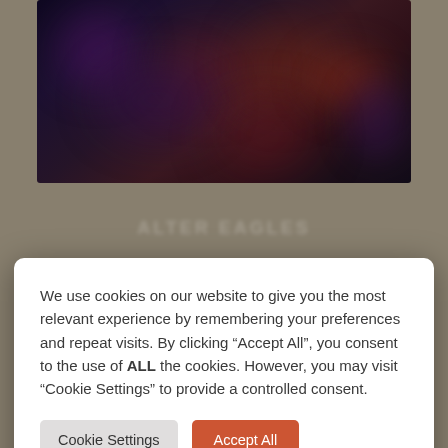[Figure (photo): Blurred dark photograph of performers on stage with purple and warm lighting, partially visible at the top of the page behind a cookie consent modal]
We use cookies on our website to give you the most relevant experience by remembering your preferences and repeat visits. By clicking “Accept All”, you consent to the use of ALL the cookies. However, you may visit “Cookie Settings” to provide a controlled consent.
Cookie Settings   Accept All
performances, up to and including 2007’s Long Road Out Of Eden.
Lauded for their accuracy, the Alter Eagles are a tribute to the Eagles, pure and simple and in a typical two hour set play many of the band’s greatest hits, including Hotel California,